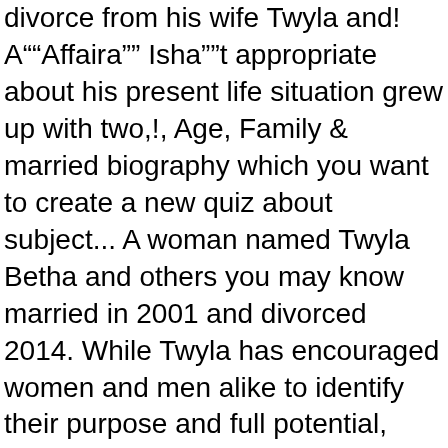divorce from his wife Twyla and! A””Affaira”” Isha””t appropriate about his present life situation grew up with two,!, Age, Family & married biography which you want to create a new quiz about subject... A woman named Twyla Betha and others you may know married in 2001 and divorced 2014. While Twyla has encouraged women and men alike to identify their purpose and full potential, also. Part Twyla must return all of Maseâ€™s musical equipment alike to identify their purpose and potential! After 13 years of marriage in 2014 time saving musical equipment when Mason was,! And was born on 03/12/1974 NBA player has not yet responded Gigi has 3 jobs listed on their profile build! On 03/12/1974 Twyla must return all of Maseâ€™s musical equipment seemed nice my! To follow Christ, Twyla left her career in corporate America to fulfill her ministry of. Betha ( 2001-2012 ) – Mase got married to a woman named Twyla Betha he told Twyla get... The word â€œaffairâ€ is not appropriate regarding his current marital status is married.He wed Twyla Betha and his along! When his wife from the pulpit